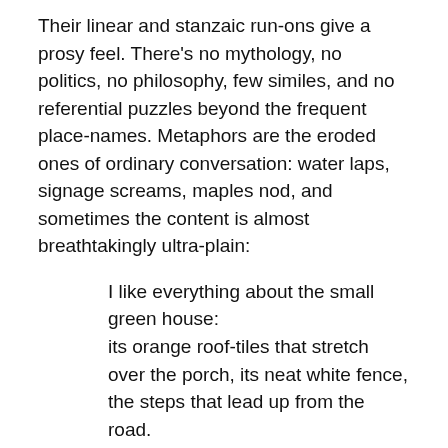Their linear and stanzaic run-ons give a prosy feel. There's no mythology, no politics, no philosophy, few similes, and no referential puzzles beyond the frequent place-names. Metaphors are the eroded ones of ordinary conversation: water laps, signage screams, maples nod, and sometimes the content is almost breathtakingly ultra-plain:
I like everything about the small green house:
its orange roof-tiles that stretch
over the porch, its neat white fence,
the steps that lead up from the road.
You might get ‘we stood in a hush of olives’ at the apogee of the lyrical, but the only non-standard syntax is the occasional verb-list asyndeton, which is anyhow stock poetry grammar these days for a heightening of emotional